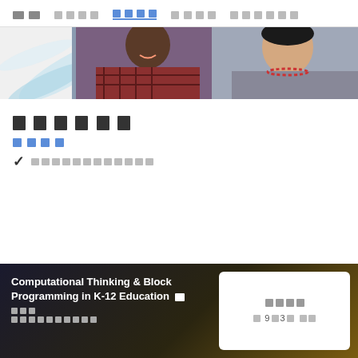□□  □□□□  □□□□  □□□□  □□□□□□
[Figure (photo): Banner photo showing two smiling students, one in a plaid shirt and one in a grey cardigan with a pearl necklace, with a light blue diagonal swoosh graphic on the left side.]
□□□□□□
□□□□
✓ □□□□□□□□□□□□
[Figure (infographic): Dark gradient course card for 'Computational Thinking & Block Programming in K-12 Education' with a white pricing box on the right showing redacted price and session info.]
Computational Thinking & Block Programming in K-12 Education □ □□□
□□□□□□□□□□